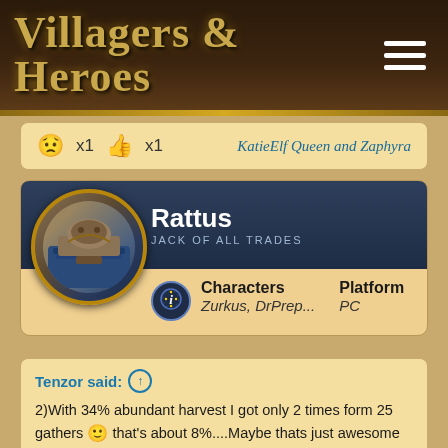Villagers & Heroes
😟 x1  👍 x1    KatieElf Queen and Zaphyra
Rattus
JACK OF ALL TRADES
Characters: Zurkus, DrPrep...   Platform: PC
Tenzor said: ↑
2)With 34% abundant harvest I got only 2 times form 25 gathers 🙂 that's about 8%....Maybe thats just awesome super bad luck....but 8% is not even close to 34%